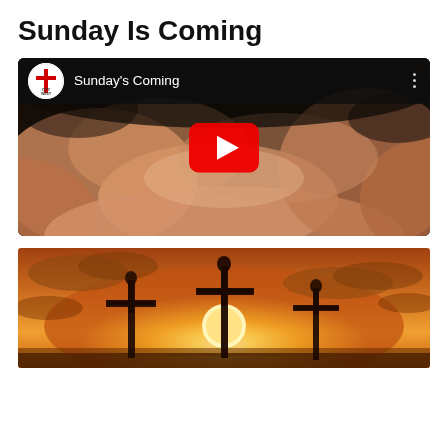Sunday Is Coming
[Figure (screenshot): YouTube video thumbnail showing a close-up of hands/skin with a dark background. The video player UI shows a channel logo for 'City West Church', the video title 'Sunday's Coming', a three-dot menu icon, and a red YouTube play button in the center.]
[Figure (photo): Photo of three crucifixes silhouetted against a dramatic golden sunset sky with clouds.]